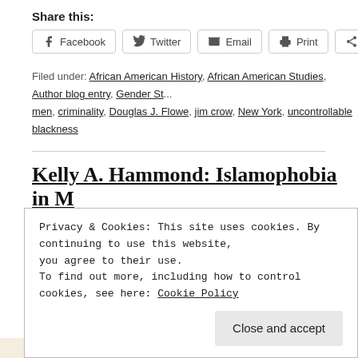Share this:
Facebook | Twitter | Email | Print | More
Filed under: African American History, African American Studies, Author blog entry, Gender St..., men, criminality, Douglas J. Flowe, jim crow, New York, uncontrollable blackness
Kelly A. Hammond: Islamophobia in [...]
Posted by Anna Faison on 16 November 2020, 11:30 am
Today we welcome a guest post from Kelly A. Hammond, autho... out now from UNC Press. In this transnational history of World... Japan's challenges to Chinese nation-building efforts. Revealing...
Privacy & Cookies: This site uses cookies. By continuing to use this website, you agree to their use.
To find out more, including how to control cookies, see here: Cookie Policy